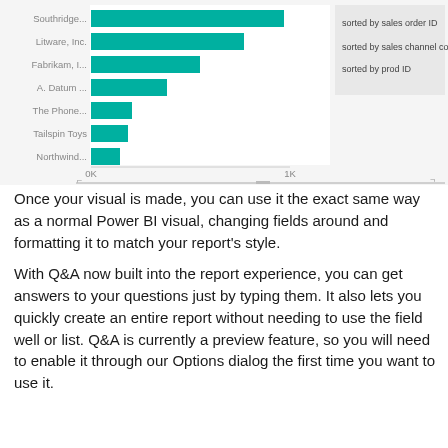[Figure (bar-chart): ]
Once your visual is made, you can use it the exact same way as a normal Power BI visual, changing fields around and formatting it to match your report’s style.
With Q&A now built into the report experience, you can get answers to your questions just by typing them. It also lets you quickly create an entire report without needing to use the field well or list. Q&A is currently a preview feature, so you will need to enable it through our Options dialog the first time you want to use it.